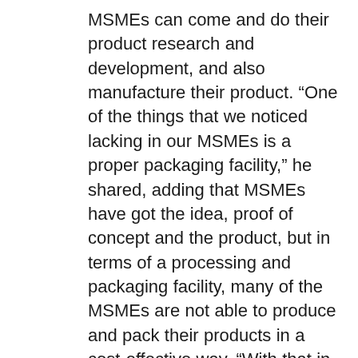MSMEs can come and do their product research and development, and also manufacture their product. “One of the things that we noticed lacking in our MSMEs is a proper packaging facility,” he shared, adding that MSMEs have got the idea, proof of concept and the product, but in terms of a processing and packaging facility, many of the MSMEs are not able to produce and pack their products in a cost-effective way. “With that in mind, Ghanim and DARe partnered up to come up with this processing plant and multipurpose facility under BFID. “We are aiming to develop the local MSMEs and the food industry ecosystem as a whole, so our